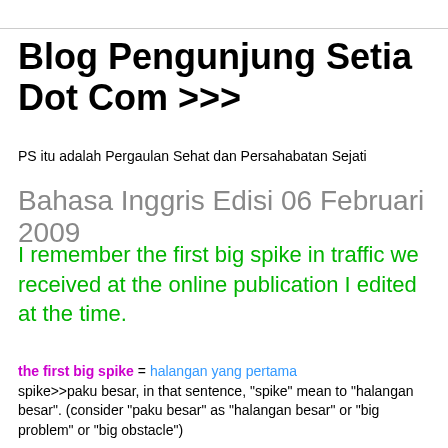Blog Pengunjung Setia Dot Com >>>
PS itu adalah Pergaulan Sehat dan Persahabatan Sejati
Bahasa Inggris Edisi 06 Februari 2009
I remember the first big spike in traffic we received at the online publication I edited at the time.
the first big spike = halangan yang pertama
spike>>paku besar, in that sentence, "spike" mean to "halangan besar". (consider "paku besar" as "halangan besar" or "big problem" or "big obstacle")